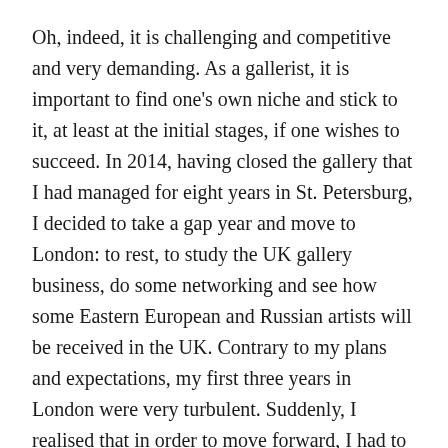Oh, indeed, it is challenging and competitive and very demanding. As a gallerist, it is important to find one's own niche and stick to it, at least at the initial stages, if one wishes to succeed. In 2014, having closed the gallery that I had managed for eight years in St. Petersburg, I decided to take a gap year and move to London: to rest, to study the UK gallery business, do some networking and see how some Eastern European and Russian artists will be received in the UK. Contrary to my plans and expectations, my first three years in London were very turbulent. Suddenly, I realised that in order to move forward, I had to start from scratch, stay intellectually challenged, get unstuck from my former rut and completely change my oh-so-familiar marketing strategies. It was stressful! And I suddenly found myself in a vacuum – that was the hardest experience of all!
And this is where, experiencing all, going out it came, my point...